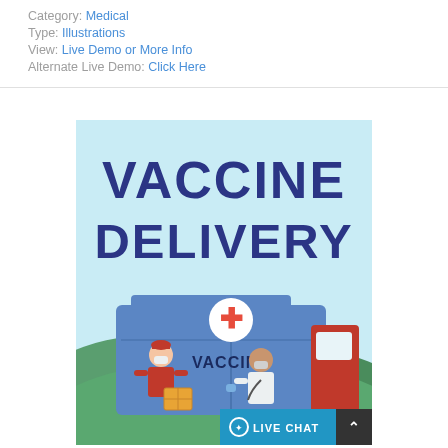Category: Medical
Type: Illustrations
View: Live Demo or More Info
Alternate Live Demo: Click Here
[Figure (illustration): Vaccine Delivery illustration showing a delivery person in a red outfit handing a box to a doctor in a white coat, in front of a blue medical van labeled VACCINE with a medical cross symbol. Background shows green hills and light blue sky. Large bold text reads VACCINE DELIVERY at the top.]